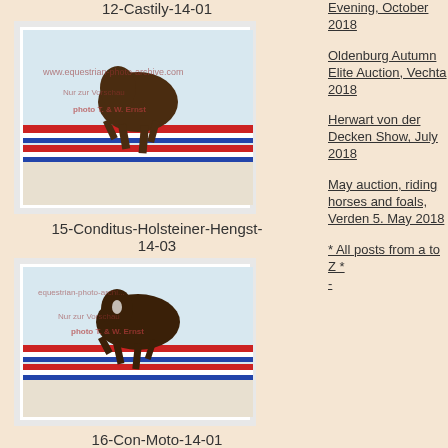12-Castily-14-01
[Figure (photo): Horse jumping over colorful red, white and blue poles at a show jumping event. Watermark: www.equestrian-photo-archive.com, Nur zur Vorschau, photo T. & W. Ernst]
15-Conditus-Holsteiner-Hengst-14-03
[Figure (photo): Horse jumping over colorful red, white and blue poles at a show jumping event. Watermark: equestrian-photo-archive, Nur zur Vorschau, photo T. & W. Ernst]
16-Con-Moto-14-01
[Figure (photo): Partial view of a horse with handler, brown horse, text: Conditions to use this photo please make a lo...]
Evening, October 2018
Oldenburg Autumn Elite Auction, Vechta 2018
Herwart von der Decken Show, July 2018
May auction, riding horses and foals, Verden 5. May 2018
* All posts from a to Z *
-